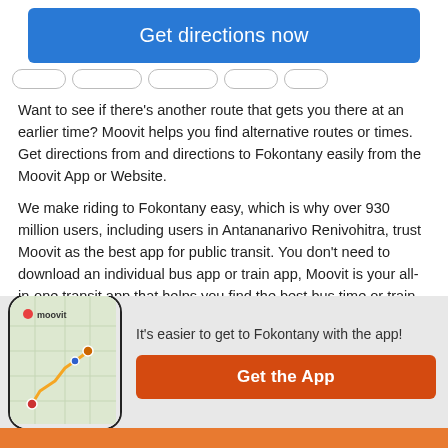[Figure (other): Blue 'Get directions now' button]
[Figure (screenshot): Navigation tab bar with pill-shaped tabs]
Want to see if there's another route that gets you there at an earlier time? Moovit helps you find alternative routes or times. Get directions from and directions to Fokontany easily from the Moovit App or Website.
We make riding to Fokontany easy, which is why over 930 million users, including users in Antananarivo Renivohitra, trust Moovit as the best app for public transit. You don't need to download an individual bus app or train app, Moovit is your all-in-one transit app that helps you find the best bus time or train time available.
[Figure (screenshot): Moovit app promotion banner with phone illustration showing map routes, text 'It's easier to get to Fokontany with the app!' and orange 'Get the App' button]